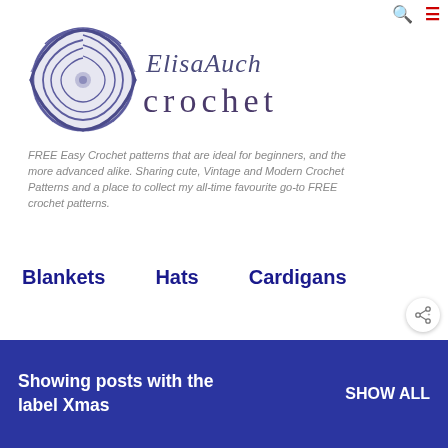[Figure (logo): ElisaAuch Crochet website logo featuring a circular yarn/crochet motif in purple/blue on the left, and the text 'ElisaAuch crochet' in a decorative serif font on the right]
FREE Easy Crochet patterns that are ideal for beginners, and the more advanced alike. Sharing cute, Vintage and Modern Crochet Patterns and a place to collect my all-time favourite go-to FREE crochet patterns.
Blankets
Hats
Cardigans
Showing posts with the label Xmas
SHOW ALL